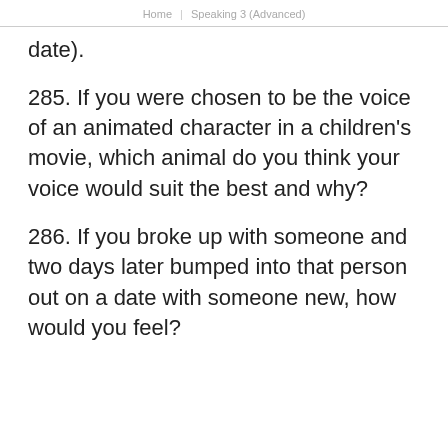Home | Speaking 3 (Advanced)
date).
285. If you were chosen to be the voice of an animated character in a children's movie, which animal do you think your voice would suit the best and why?
286. If you broke up with someone and two days later bumped into that person out on a date with someone new, how would you feel?